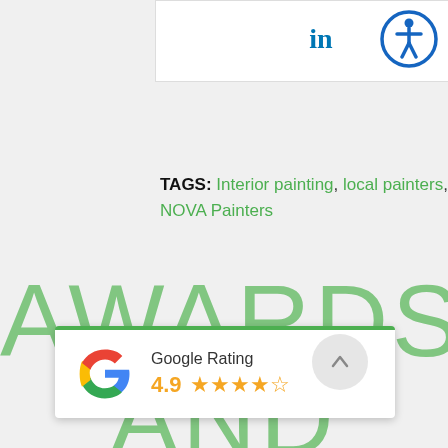[Figure (logo): LinkedIn icon inside white box]
[Figure (logo): Accessibility icon circle with person symbol, top right]
TAGS: Interior painting, local painters, NOVA Painters
AWARDS AND RECOGNITION
[Figure (logo): Google Rating card showing 4.9 stars with Google G logo]